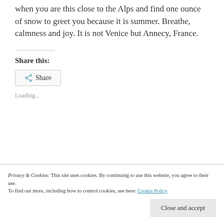when you are this close to the Alps and find one ounce of snow to greet you because it is summer. Breathe, calmness and joy. It is not Venice but Annecy, France.
Share this:
Share
Loading...
Privacy & Cookies: This site uses cookies. By continuing to use this website, you agree to their use. To find out more, including how to control cookies, see here: Cookie Policy
Close and accept